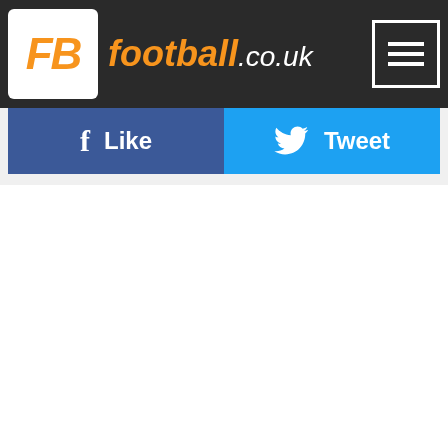[Figure (logo): football.co.uk website header with FB logo box and site name in orange italic text on dark background, with hamburger menu button top right]
[Figure (infographic): Social share bar with Facebook Like button (dark blue) and Twitter Tweet button (light blue)]